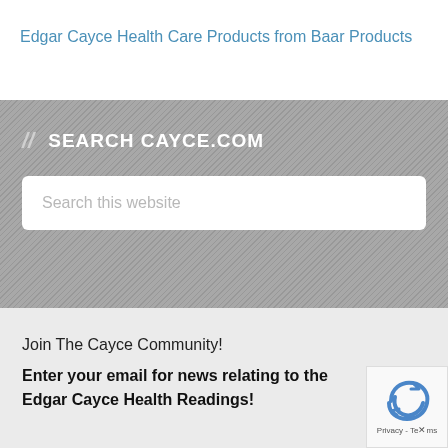Edgar Cayce Health Care Products from Baar Products
// SEARCH CAYCE.COM
Search this website
Join The Cayce Community!
Enter your email for news relating to the Edgar Cayce Health Readings!
Share This
Email